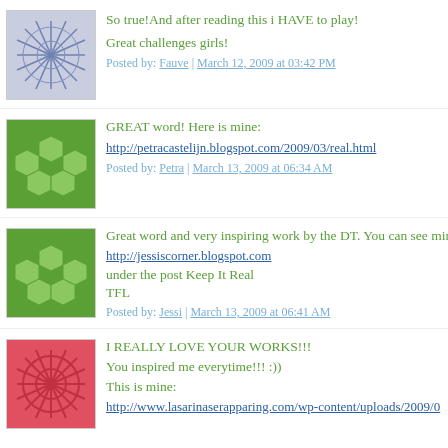So true!And after reading this i HAVE to play!

Great challenges girls!

Posted by: Fauve | March 12, 2009 at 03:42 PM
GREAT word! Here is mine:
http://petracastelijn.blogspot.com/2009/03/real.html

Posted by: Petra | March 13, 2009 at 06:34 AM
Great word and very inspiring work by the DT. You can see mine:
http://jessiscorner.blogspot.com
under the post Keep It Real
TFL

Posted by: Jessi | March 13, 2009 at 06:41 AM
I REALLY LOVE YOUR WORKS!!!
You inspired me everytime!!! :))
This is mine:
http://www.lasarinaserapparing.com/wp-content/uploads/2009/0...